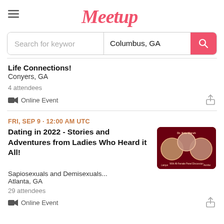Meetup
Search for keywords | Columbus, GA
Life Connections!
Conyers, GA
4 attendees
Online Event
FRI, SEP 9 · 12:00 AM UTC
Dating in 2022 - Stories and Adventures from Ladies Who Heard it All!
Sapiosexuals and Demisexuals...
Atlanta, GA
29 attendees
Online Event